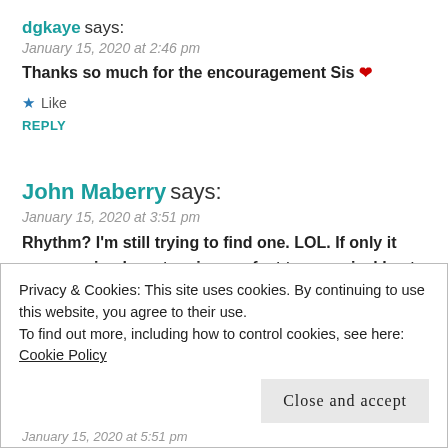dgkaye says:
January 15, 2020 at 2:46 pm
Thanks so much for the encouragement Sis ❤
★ Like
REPLY
John Maberry says:
January 15, 2020 at 3:51 pm
Rhythm? I'm still trying to find one. LOL. If only it were as simple as tapping my feet to a musical beat. Congrats on the returning
Privacy & Cookies: This site uses cookies. By continuing to use this website, you agree to their use.
To find out more, including how to control cookies, see here: Cookie Policy
Close and accept
January 15, 2020 at 5:51 pm